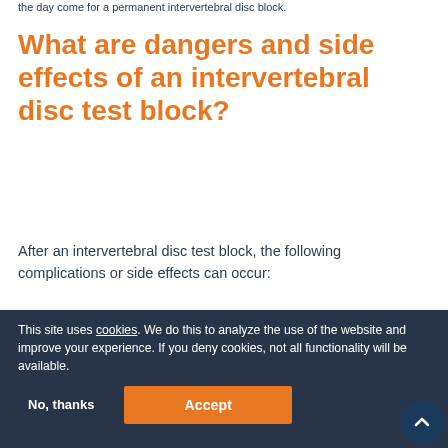the day come for a permanent intervertebral disc block.
What are dangers and side effects of an intervertebral disc test block?
After an intervertebral disc test block, the following complications or side effects can occur:
sometimes an allergic reaction for the injected substances (dye, anesthetics, cortisone, etc.)
in a prolonged
list for additional pain medication
This site uses cookies. We do this to analyze the use of the website and improve your experience. If you deny cookies, not all functionality will be available.
When can I expect pain relief